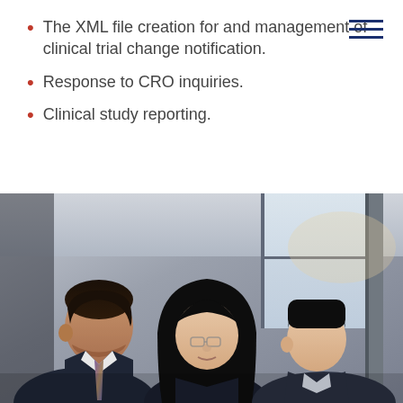The XML file creation for and management of clinical trial change notification.
Response to CRO inquiries.
Clinical study reporting.
[Figure (photo): Three business professionals (a South Asian man in suit and tie, an East Asian woman, and an East Asian man) looking down at something together, in an office environment with large windows.]